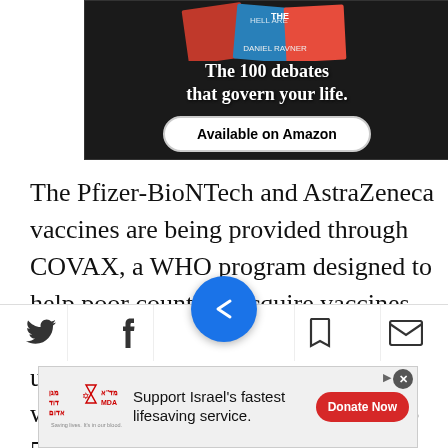[Figure (illustration): Dark advertisement banner for a book titled 'The 100 debates that govern your life.' with an 'Available on Amazon' button, attributed to Daniel Ravner]
The Pfizer-BioNTech and AstraZeneca vaccines are being provided through COVAX, a WHO program designed to help poor countries acquire vaccines. Even if the Palestinians receive the upper limit of those deliveries, they would only be able to vaccinate up to 5% of the
[Figure (other): Social media sharing toolbar with Twitter, Facebook, bookmark, and email icons, plus a circular blue news app navigation button in the center]
[Figure (other): Advertisement for Magen David Adom: 'Support Israel's fastest lifesaving service.' with a red Donate Now button]